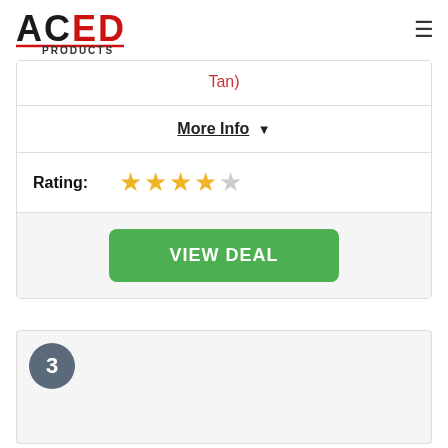ACED PRODUCTS
Tan)
More Info ▼
Rating: ★★★★☆
VIEW DEAL
3